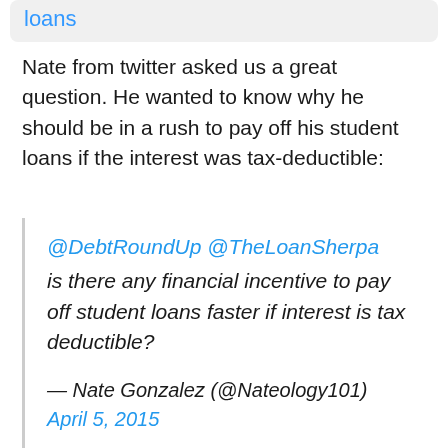loans
Nate from twitter asked us a great question. He wanted to know why he should be in a rush to pay off his student loans if the interest was tax-deductible:
@DebtRoundUp @TheLoanSherpa is there any financial incentive to pay off student loans faster if interest is tax deductible? — Nate Gonzalez (@Nateology101) April 5, 2015